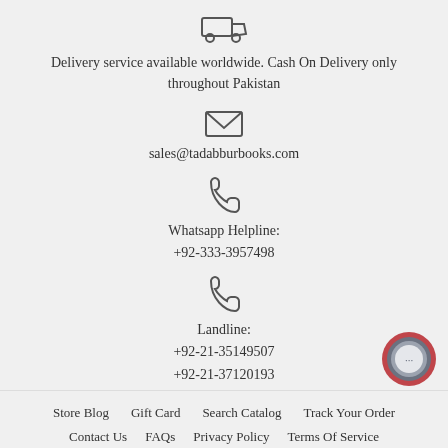[Figure (illustration): Truck/delivery vehicle icon (outline style)]
Delivery service available worldwide. Cash On Delivery only throughout Pakistan
[Figure (illustration): Envelope/email icon (outline style)]
sales@tadabburbooks.com
[Figure (illustration): Phone/handset icon (outline style)]
Whatsapp Helpline:
+92-333-3957498
[Figure (illustration): Phone/handset icon (outline style)]
Landline:
+92-21-35149507
+92-21-37120193
Store Blog   Gift Card   Search Catalog   Track Your Order
Contact Us   FAQs   Privacy Policy   Terms Of Service